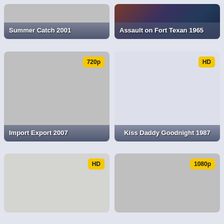[Figure (screenshot): Movie thumbnail card: Summer Catch 2001, gray placeholder image with title bar at bottom]
[Figure (screenshot): Movie thumbnail card: Assault on Fort Texan 1965, colorful movie poster image with title bar at bottom]
[Figure (screenshot): Movie thumbnail card: Import Export 2007, gray placeholder image with 720p badge top right]
[Figure (screenshot): Movie thumbnail card: Kiss Daddy Goodnight 1987, light blue-gray placeholder with HD badge top right]
[Figure (screenshot): Movie thumbnail card: unknown title, light gray placeholder with HD badge top right]
[Figure (screenshot): Movie thumbnail card: unknown title, gray placeholder with 1080p badge top right]